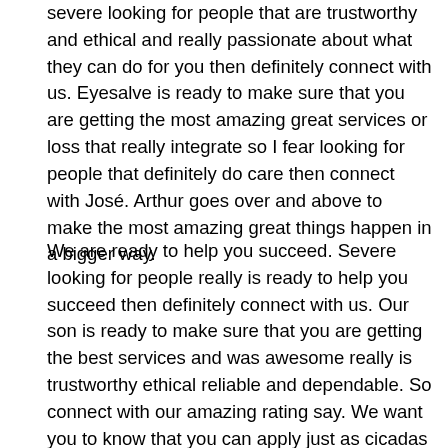severe looking for people that are trustworthy and ethical and really passionate about what they can do for you then definitely connect with us. Eyesalve is ready to make sure that you are getting the most amazing great services or loss that really integrate so I fear looking for people that definitely do care then connect with José. Arthur goes over and above to make the most amazing great things happen in a bigger way.
We are ready to help you succeed. Severe looking for people really is ready to help you succeed then definitely connect with us. Our son is ready to make sure that you are getting the best services and was awesome really is trustworthy ethical reliable and dependable. So connect with our amazing rating say. We want you to know that you can apply just as cicadas when it comes to getting the most amazing great services and was awesome really is getting right we make amazing great things happen in a very